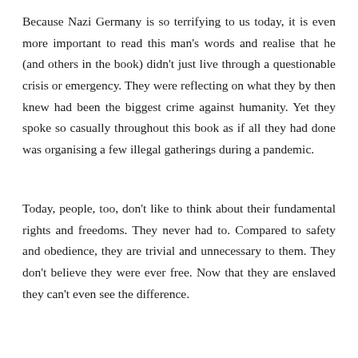Because Nazi Germany is so terrifying to us today, it is even more important to read this man's words and realise that he (and others in the book) didn't just live through a questionable crisis or emergency. They were reflecting on what they by then knew had been the biggest crime against humanity. Yet they spoke so casually throughout this book as if all they had done was organising a few illegal gatherings during a pandemic.
Today, people, too, don't like to think about their fundamental rights and freedoms. They never had to. Compared to safety and obedience, they are trivial and unnecessary to them. They don't believe they were ever free. Now that they are enslaved they can't even see the difference.